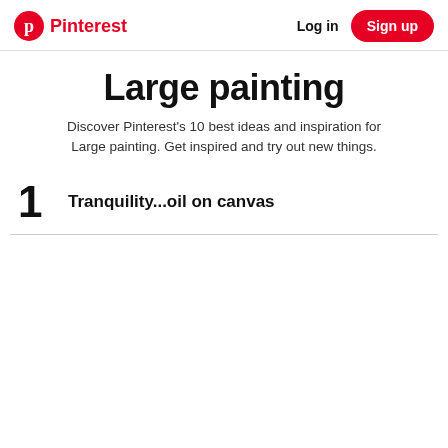Pinterest  Log in  Sign up
Large painting
Discover Pinterest's 10 best ideas and inspiration for Large painting. Get inspired and try out new things.
1  Tranquility...oil on canvas
[Figure (screenshot): Google Sign-in modal dialog with Google G logo, 'Sign in with Google' header, close X button, heading 'Use your Google Account to sign in to Pinterest', subtext 'No more passwords to remember. Signing in is fast, simple and secure.', a key illustration graphic, and a blue Continue button at the bottom.]